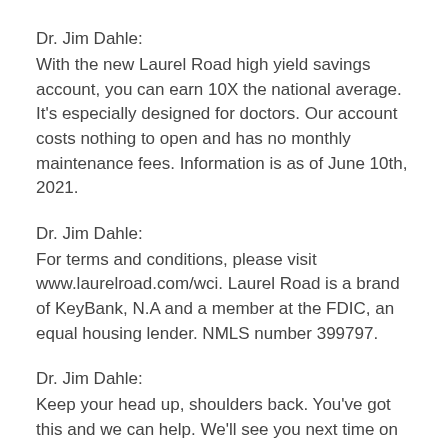Dr. Jim Dahle:
With the new Laurel Road high yield savings account, you can earn 10X the national average. It's especially designed for doctors. Our account costs nothing to open and has no monthly maintenance fees. Information is as of June 10th, 2021.
Dr. Jim Dahle:
For terms and conditions, please visit www.laurelroad.com/wci. Laurel Road is a brand of KeyBank, N.A and a member at the FDIC, an equal housing lender. NMLS number 399797.
Dr. Jim Dahle:
Keep your head up, shoulders back. You've got this and we can help. We'll see you next time on the White Coat Investor podcast.